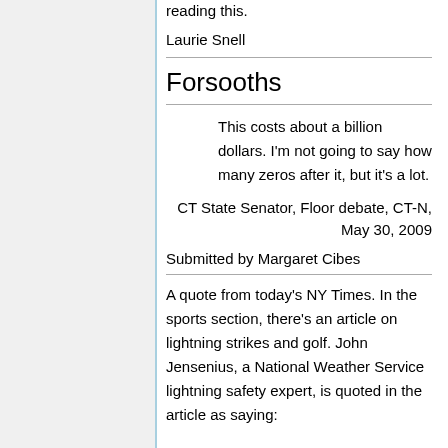reading this.
Laurie Snell
Forsooths
This costs about a billion dollars. I'm not going to say how many zeros after it, but it's a lot.
CT State Senator, Floor debate, CT-N, May 30, 2009
Submitted by Margaret Cibes
A quote from today's NY Times. In the sports section, there's an article on lightning strikes and golf. John Jensenius, a National Weather Service lightning safety expert, is quoted in the article as saying: